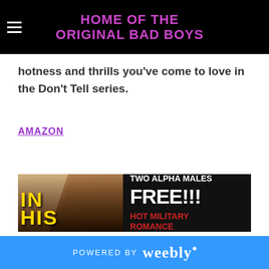HOME OF THE ORIGINAL BAD BOYS
hotness and thrills you've come to love in the Don't Tell series.
AMAZON
[Figure (illustration): Book promotion banner showing two figures (a couple) on the left side with yellow text 'IN HIS' and on the right side on black background: 'TWO ALPHA MALES FREE!!! HOT MILITARY ROMANCE']
POWERED BY weebly